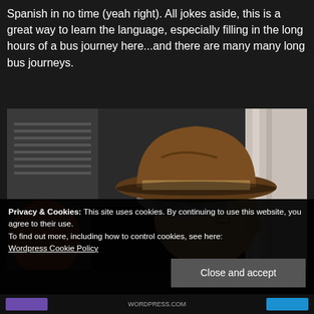Spanish in no time (yeah right). All jokes aside, this is a great way to learn the language, especially filling in the long hours of a bus journey here...and there are many many long bus journeys.
[Figure (photo): A person wearing a brown fedora hat, with grey curly hair visible beneath, seen from the side/below. A woman with reddish hair is partially visible to the left. Background shows a building facade and light curtain/fabric on the right.]
Privacy & Cookies: This site uses cookies. By continuing to use this website, you agree to their use.
To find out more, including how to control cookies, see here: Wordpress Cookie Policy
Close and accept